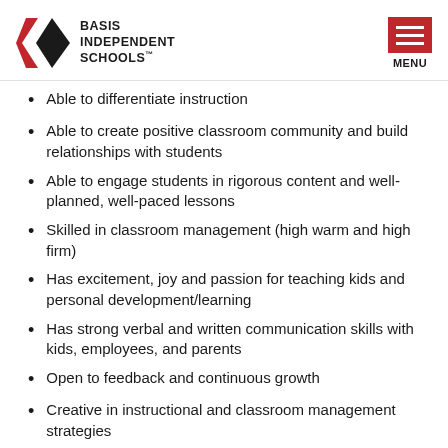BASIS INDEPENDENT SCHOOLS
Able to differentiate instruction
Able to create positive classroom community and build relationships with students
Able to engage students in rigorous content and well-planned, well-paced lessons
Skilled in classroom management (high warm and high firm)
Has excitement, joy and passion for teaching kids and personal development/learning
Has strong verbal and written communication skills with kids, employees, and parents
Open to feedback and continuous growth
Creative in instructional and classroom management strategies